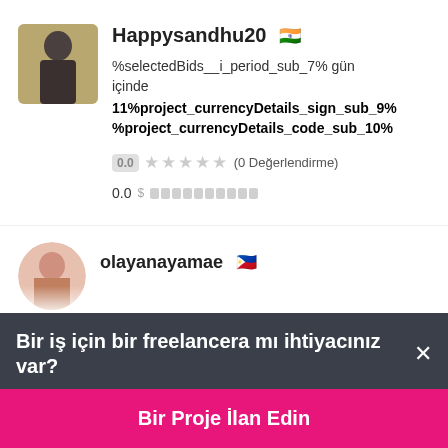[Figure (photo): User profile photo of Happysandhu20, a person in dark clothing against a warm background]
Happysandhu20 🇮🇳
%selectedBids__i_period_sub_7% gün içinde
11%project_currencyDetails_sign_sub_9% %project_currencyDetails_code_sub_10%
0.0 ★★★★★ (0 Değerlendirme)
0.0 $ ▓▓▓▓▓▓▓▓▓▓
[Figure (photo): Partial user profile photo of olayanayamae, a person with round face]
olayanayamae 🇵🇭
Bir iş için bir freelancera mı ihtiyacınız var? ×
Bir Proje İlan Edin